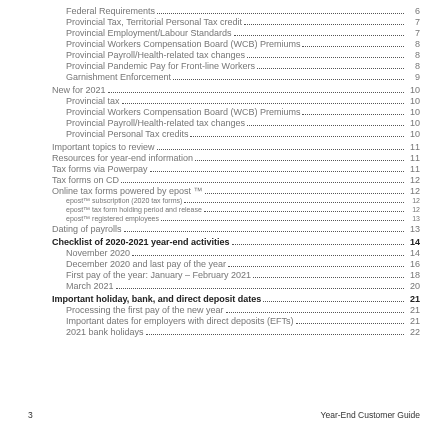Federal Requirements ..... 6
Provincial Tax, Territorial Personal Tax credit ..... 7
Provincial Employment/Labour Standards ..... 7
Provincial Workers Compensation Board (WCB) Premiums ..... 8
Provincial Payroll/Health-related tax changes ..... 8
Provincial Pandemic Pay for Front-line Workers ..... 8
Garnishment Enforcement ..... 9
New for 2021 ..... 10
Provincial tax ..... 10
Provincial Workers Compensation Board (WCB) Premiums ..... 10
Provincial Payroll/Health-related tax changes ..... 10
Provincial Personal Tax credits ..... 10
Important topics to review ..... 11
Resources for year-end information ..... 11
Tax forms via Powerpay ..... 11
Tax forms on CD ..... 12
Online tax forms powered by epost ™ ..... 12
epost™ subscription (2020 tax forms) ..... 12
epost™ tax form holding period and release ..... 12
epost™ registered employees ..... 13
Dating of payrolls ..... 13
Checklist of 2020-2021 year-end activities ..... 14
November 2020 ..... 14
December 2020 and last pay of the year ..... 16
First pay of the year: January – February 2021 ..... 18
March 2021 ..... 20
Important holiday, bank, and direct deposit dates ..... 21
Processing the first pay of the new year ..... 21
Important dates for employers with direct deposits (EFTs) ..... 21
2021 bank holidays ..... 22
3    Year-End Customer Guide